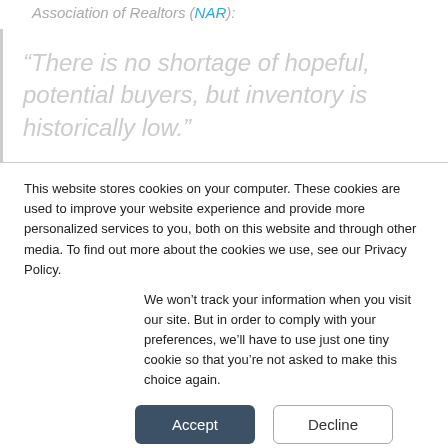Association of Realtors (NAR):
“There is no shortage of hopeful, potential buyers, but inventory is historically low.”
This website stores cookies on your computer. These cookies are used to improve your website experience and provide more personalized services to you, both on this website and through other media. To find out more about the cookies we use, see our Privacy Policy.
We won’t track your information when you visit our site. But in order to comply with your preferences, we’ll have to use just one tiny cookie so that you’re not asked to make this choice again.